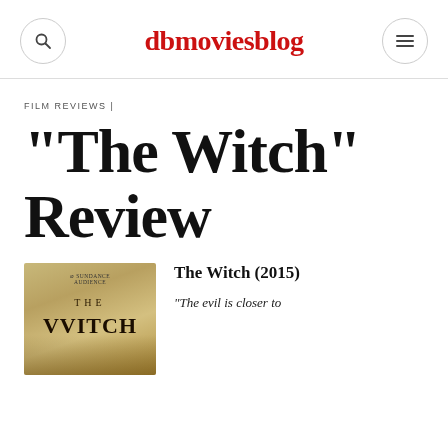dbmoviesblog
FILM REVIEWS |
“The Witch” Review
[Figure (photo): Movie poster for The Witch (2015) showing THE VVITCH text on aged parchment background]
The Witch (2015)
“The evil is closer to